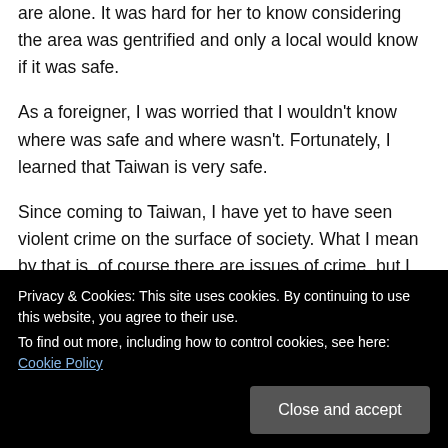are alone. It was hard for her to know considering the area was gentrified and only a local would know if it was safe.
As a foreigner, I was worried that I wouldn't know where was safe and where wasn't. Fortunately, I learned that Taiwan is very safe.
Since coming to Taiwan, I have yet to have seen violent crime on the surface of society. What I mean by that is, of course there are issues of crime, but I sense that in Taiwan, it does not boil over into plain sight, unlike in many Western countries. I get the feeling that if someone did try and mug me in Taiwan they would say sorry to me (對不起) for
Privacy & Cookies: This site uses cookies. By continuing to use this website, you agree to their use.
To find out more, including how to control cookies, see here: Cookie Policy
Close and accept